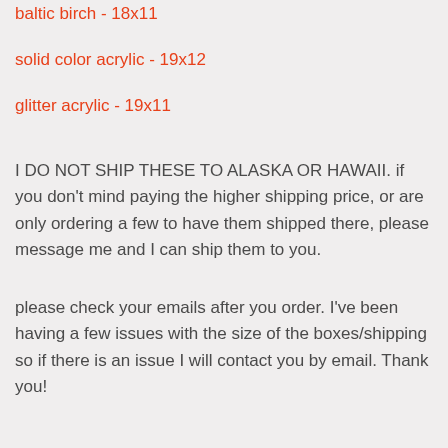baltic birch - 18x11
solid color acrylic - 19x12
glitter acrylic - 19x11
I DO NOT SHIP THESE TO ALASKA OR HAWAII. if you don't mind paying the higher shipping price, or are only ordering a few to have them shipped there, please message me and I can ship them to you.
please check your emails after you order. I've been having a few issues with the size of the boxes/shipping so if there is an issue I will contact you by email. Thank you!